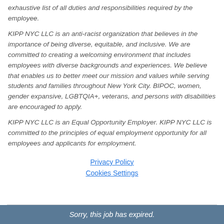exhaustive list of all duties and responsibilities required by the employee.
KIPP NYC LLC is an anti-racist organization that believes in the importance of being diverse, equitable, and inclusive. We are committed to creating a welcoming environment that includes employees with diverse backgrounds and experiences. We believe that enables us to better meet our mission and values while serving students and families throughout New York City. BIPOC, women, gender expansive, LGBTQIA+, veterans, and persons with disabilities are encouraged to apply.
KIPP NYC LLC is an Equal Opportunity Employer. KIPP NYC LLC is committed to the principles of equal employment opportunity for all employees and applicants for employment.
Privacy Policy
Cookies Settings
Sorry, this job has expired.